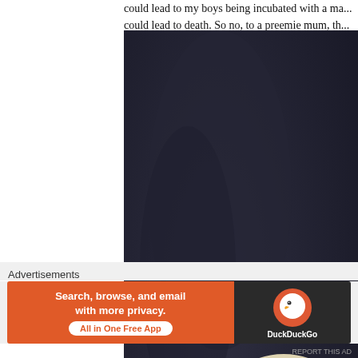could lead to my boys being incubated with a ma... could lead to death. So no, to a preemie mum, th... cold'
[Figure (photo): A baby wearing a cream fleece hat with ear flaps, sleeping in a dark Maxi-Cosi car seat, with a blue pacifier/dummy, and a small medical tube near nose.]
Advertisements
[Figure (screenshot): DuckDuckGo advertisement banner. Left side orange with text 'Search, browse, and email with more privacy. All in One Free App'. Right side dark with DuckDuckGo logo.]